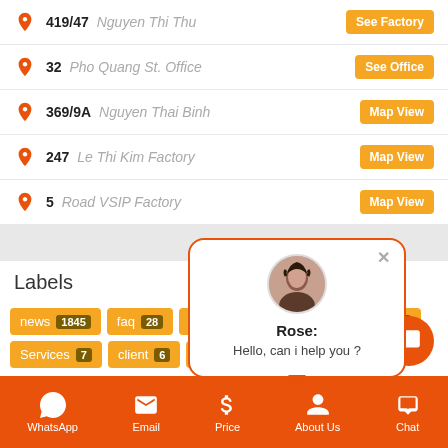419/47 Nguyen Thi Thu — See Factory
32 Pho Quang St. Office — See Office
369/9A Nguyen Thai Binh — Map View
247 Le Thi Kim Factory — Map View
5 Road VSIP Factory — Map View
Rose: Hello, can i help you ?
Labels
news 1845  faq 28  may đồng phục 25  samples 12
Services 7  client 6  introduction 6  ppe 5
WhatsApp  Email  Price  About Us  Chat